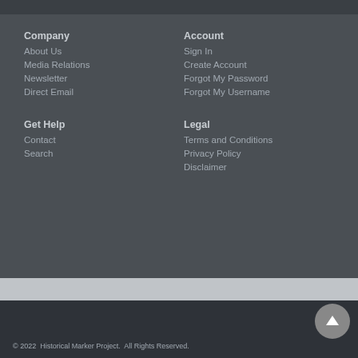Company
About Us
Media Relations
Newsletter
Direct Email
Account
Sign In
Create Account
Forgot My Password
Forgot My Username
Get Help
Contact
Search
Legal
Terms and Conditions
Privacy Policy
Disclaimer
© 2022  Historical Marker Project.  All Rights Reserved.